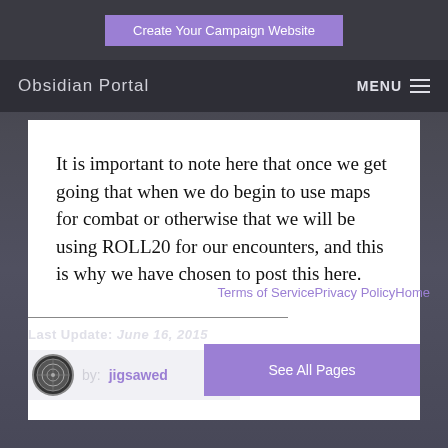Create Your Campaign Website
Obsidian Portal  MENU ≡
It is important to note here that once we get going that when we do begin to use maps for combat or otherwise that we will be using ROLL20 for our encounters, and this is why we have chosen to post this here.
Terms of ServicePrivacy PolicyHome
Last Update: June 16, 2015
by:  jigsawed
See All Pages